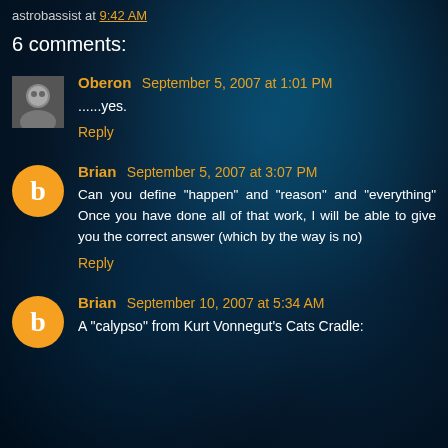astrobassist at 9:42 AM
6 comments:
Oberon September 5, 2007 at 1:01 PM
......yes.
Reply
Brian September 5, 2007 at 3:07 PM
Can you define "happen" and "reason" and "everything" Once you have done all of that work, I will be able to give you the correct answer (which by the way is no)
Reply
Brian September 10, 2007 at 5:34 AM
A "calypso" from Kurt Vonnegut's Cats Cradle: